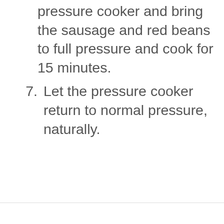pressure cooker and bring the sausage and red beans to full pressure and cook for 15 minutes.
7. Let the pressure cooker return to normal pressure, naturally.